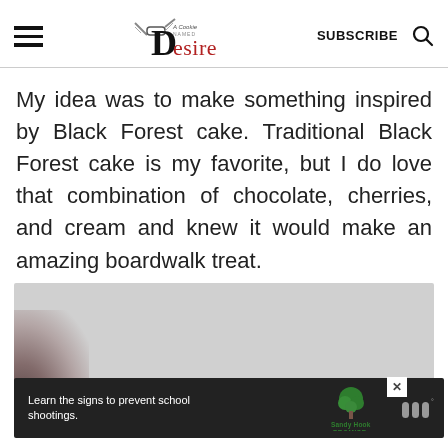A Cookie Named Desire — SUBSCRIBE [search icon]
My idea was to make something inspired by Black Forest cake. Traditional Black Forest cake is my favorite, but I do love that combination of chocolate, cherries, and cream and knew it would make an amazing boardwalk treat.
[Figure (photo): Partial photo of a food item, mostly washed out grey/light background with a dark blurred object at lower left]
[Figure (other): Advertisement banner: 'Learn the signs to prevent school shootings.' with Sandy Hook Promise logo and tree graphic, close button, and iHeartMedia logo]